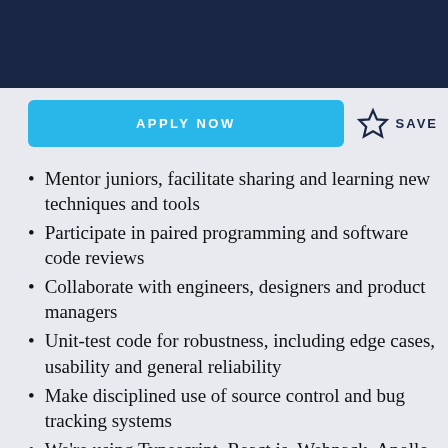Mentor juniors, facilitate sharing and learning new techniques and tools
Participate in paired programming and software code reviews
Collaborate with engineers, designers and product managers
Unit-test code for robustness, including edge cases, usability and general reliability
Make disciplined use of source control and bug tracking systems
We're using Typescript, React.js, Webpack, Apollo Graphql, Node.js, ESLint, Prettier, Styled Components, React Testing Library, Jest, In-